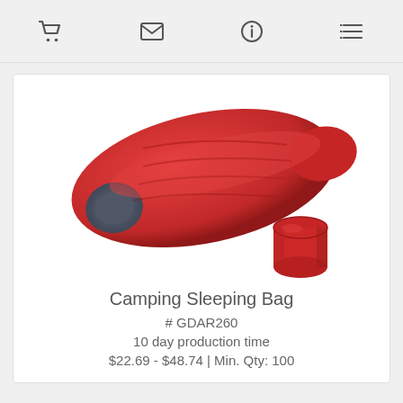Navigation bar with cart, email, info, and list icons
[Figure (photo): Red camping sleeping bag unrolled and shown with its red carry sack/stuff sack beside it]
Camping Sleeping Bag
# GDAR260
10 day production time
$22.69 - $48.74 | Min. Qty: 100